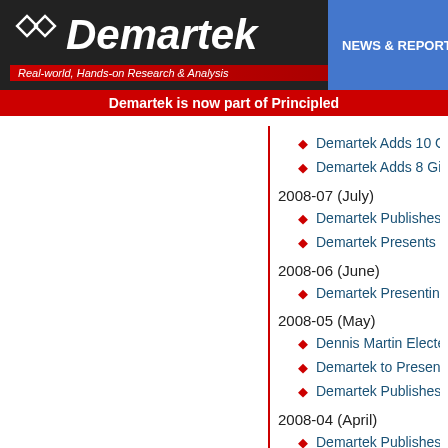Demartek — Real-world, Hands-on Research & Analysis | NEWS & REPORTS
Demartek is now part of Principled
Demartek Adds 10 Gigabit
Demartek Adds 8 Gigabit R
2008-07 (July)
Demartek Publishes FCoE
Demartek Presents Part 2
2008-06 (June)
Demartek Presenting on W
2008-05 (May)
Dennis Martin Elected Pre
Demartek to Present on Po
Demartek Publishes Emule
2008-04 (April)
Demartek Publishes Pillar
2008-02 (February)